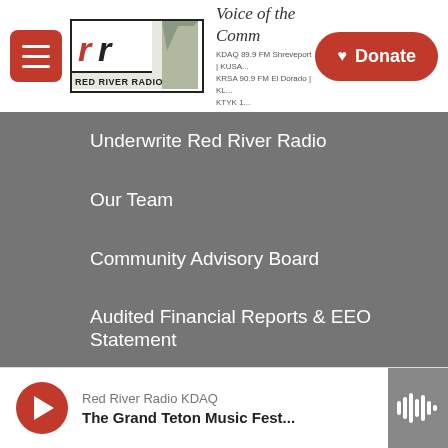[Figure (screenshot): Red River Radio website header with hamburger menu, logo, 'Voice of the Community' tagline with station frequencies, and red Donate button]
Underwrite Red River Radio
Our Team
Community Advisory Board
Audited Financial Reports & EEO Statement
CPB Community Service Report
Red River Radio Public File
Employment, Internship, and Volunteer Opportunities
[Figure (screenshot): Audio player bar showing play button, 'Red River Radio KDAQ' station name, and 'The Grand Teton Music Fest...' program title, with waveform icon on right]